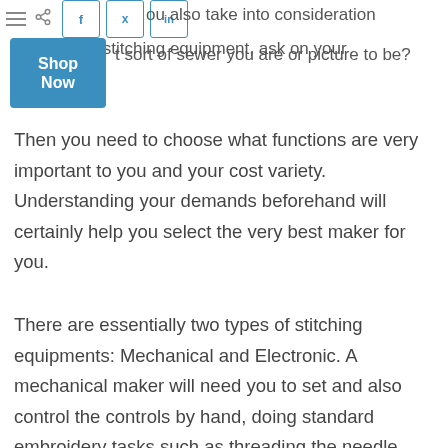ou also take into consideration a particular stitching equipment, ask on your sort of sewer you are or picture to be?
[Figure (other): Shop Now button in blue with Facebook, Twitter, LinkedIn social share icons and hamburger menu]
Then you need to choose what functions are very important to you and your cost variety. Understanding your demands beforehand will certainly help you select the very best maker for you.
There are essentially two types of stitching equipments: Mechanical and Electronic. A mechanical maker will need you to set and also control the controls by hand, doing standard embroidery tasks such as threading the needle,